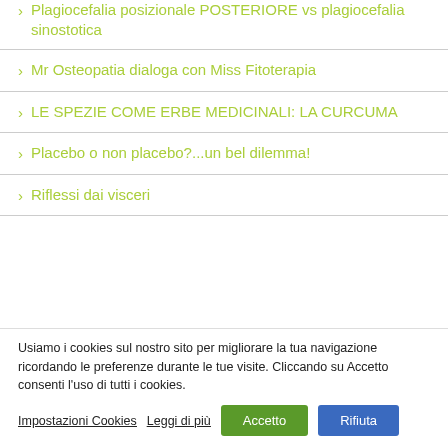> Plagiocefalia posizionale POSTERIORE vs plagiocefalia sinostotica
> Mr Osteopatia dialoga con Miss Fitoterapia
> LE SPEZIE COME ERBE MEDICINALI: LA CURCUMA
> Placebo o non placebo?...un bel dilemma!
> Riflessi dai visceri
Usiamo i cookies sul nostro sito per migliorare la tua navigazione ricordando le preferenze durante le tue visite. Cliccando su Accetto consenti l'uso di tutti i cookies.
Impostazioni Cookies   Leggi di più   Accetto   Rifiuta